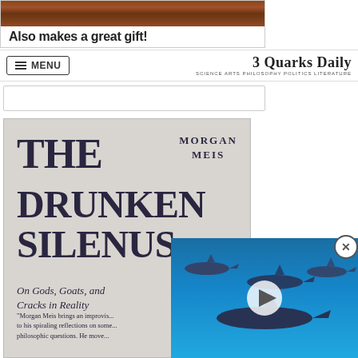[Figure (screenshot): Advertisement banner showing a wooden surface with text 'Also makes a great gift!']
MENU | 3 Quarks Daily — SCIENCE ARTS PHILOSOPHY POLITICS LITERATURE
[Figure (photo): Book cover of 'The Drunken Silenus: On Gods, Goats, and Cracks in Reality' by Morgan Meis, with a quote beginning 'Morgan Meis brings an improvis... to his spiraling reflections on some... philosophic questions. He move...']
[Figure (photo): Video overlay showing sharks swimming in blue ocean water, with a play button in the center and a close (X) button in the upper right corner.]